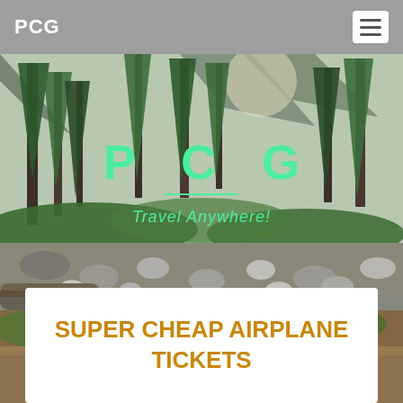PCG
[Figure (photo): Forest and mountain river scene with tall pine trees, green foliage, and a rocky streambed. Overlaid with the text 'PCG' and 'Travel Anywhere!' in green.]
SUPER CHEAP AIRPLANE TICKETS